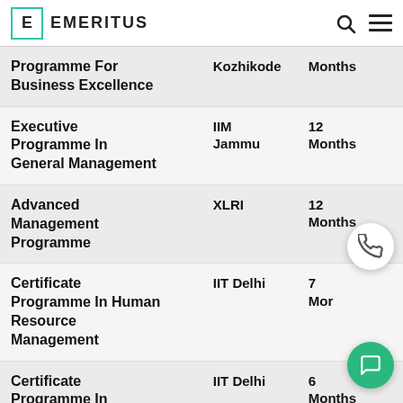EMERITUS
| Programme | Institute | Duration |
| --- | --- | --- |
| Programme For Business Excellence | IIM Kozhikode | Months |
| Executive Programme In General Management | IIM Jammu | 12 Months |
| Advanced Management Programme | XLRI | 12 Months |
| Certificate Programme In Human Resource Management | IIT Delhi | 7 Months |
| Certificate Programme In Business | IIT Delhi | 6 Months |